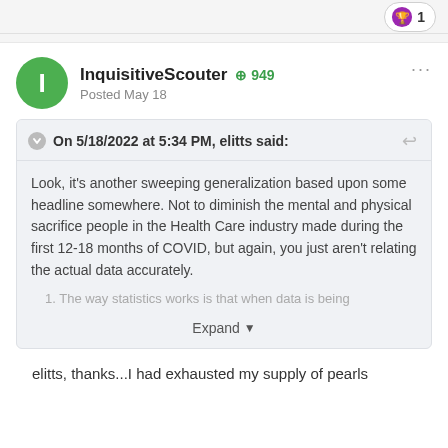1
InquisitiveScouter  +949
Posted May 18
On 5/18/2022 at 5:34 PM, elitts said:
Look, it's another sweeping generalization based upon some headline somewhere.  Not to diminish the mental and physical sacrifice people in the Health Care industry made during the first 12-18 months of COVID, but again, you just aren't relating the actual data accurately.
1. The way statistics works is that when data is being
Expand
elitts, thanks...I had exhausted my supply of pearls